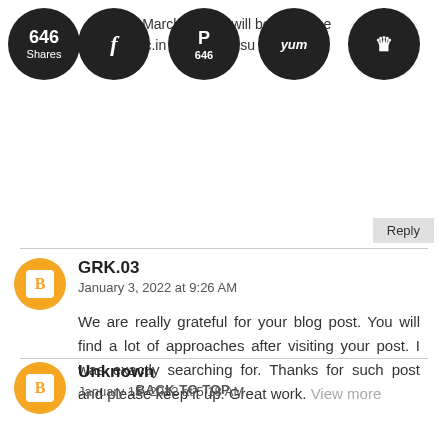appear... March ...will be...to acce... rajres...c.in 202... s 8 resu...
Reply
GRK.03
January 3, 2022 at 9:26 AM
We are really grateful for your blog post. You will find a lot of approaches after visiting your post. I was exactly searching for. Thanks for such post and please keep it up. Great work. View more
Reply
Unknown
January 15, 2022 at 5:18 AM
BACK TO TOP